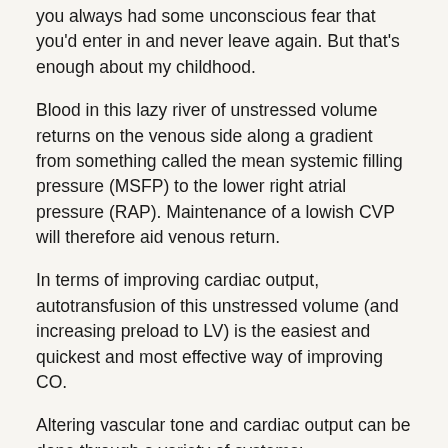you always had some unconscious fear that you'd enter in and never leave again. But that's enough about my childhood.
Blood in this lazy river of unstressed volume returns on the venous side along a gradient from something called the mean systemic filling pressure (MSFP) to the lower right atrial pressure (RAP). Maintenance of a lowish CVP will therefore aid venous return.
In terms of improving cardiac output, autotransfusion of this unstressed volume (and increasing preload to LV) is the easiest and quickest and most effective way of improving CO.
Altering vascular tone and cardiac output can be done through a variety of systems:
the adrenergic system
renin angiotensin aldosterone system (RAAS)